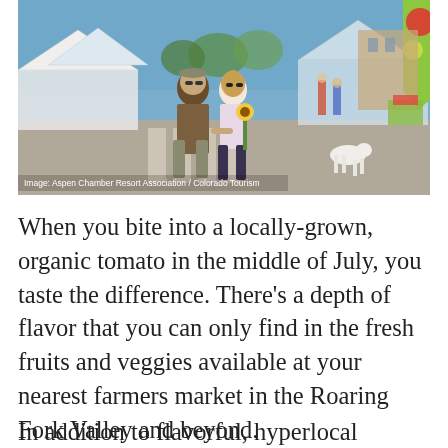[Figure (photo): Outdoor farmers market scene with couple walking hand in hand, white vendor tents lining both sides of a street, sunflowers, and a colorful banner visible on the right. Caption reads: Image: Aspen Chamber Resort Association / Colorado Tourism]
Image: Aspen Chamber Resort Association / Colorado Tourism
When you bite into a locally-grown, organic tomato in the middle of July, you taste the difference. There's a depth of flavor that you can only find in the fresh fruits and veggies available at your nearest farmers market in the Roaring Fork Valley and beyond.
In addition to flavorful, hyperlocal produce,